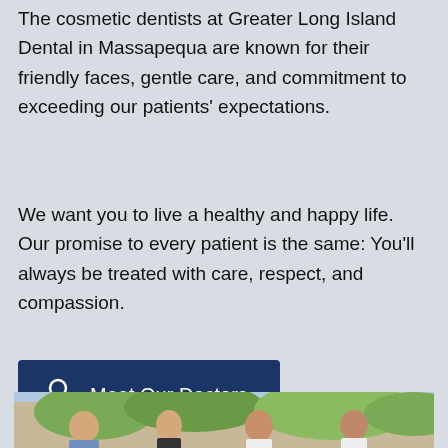The cosmetic dentists at Greater Long Island Dental in Massapequa are known for their friendly faces, gentle care, and commitment to exceeding our patients' expectations.
We want you to live a healthy and happy life. Our promise to every patient is the same: You'll always be treated with care, respect, and compassion.
[Figure (other): Button labeled 'Meet Our Doctors' with a person/user icon, dark navy blue background]
[Figure (photo): Group photo of four dental professionals (three men and one woman) smiling outdoors with green trees in background]